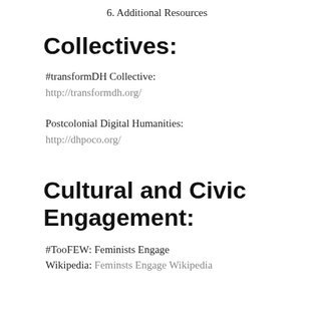6. Additional Resources
Collectives:
#transformDH Collective:
http://transformdh.org/
Postcolonial Digital Humanities:
http://dhpoco.org/
Cultural and Civic Engagement:
#TooFEW: Feminists Engage
Wikipedia: Feminsts Engage Wikipedia